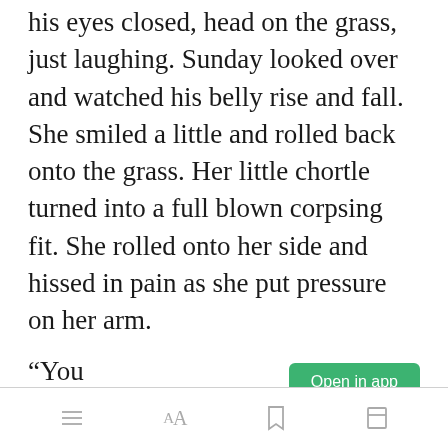his eyes closed, head on the grass, just laughing. Sunday looked over and watched his belly rise and fall. She smiled a little and rolled back onto the grass. Her little chortle turned into a full blown corpsing fit. She rolled onto her side and hissed in pain as she put pressure on her arm.
“You OK?”
Open in app [toolbar icons]